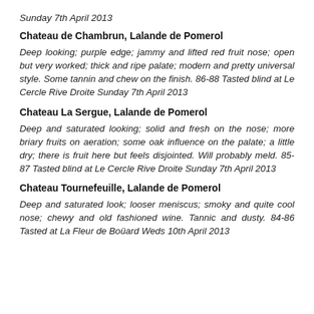Sunday 7th April 2013
Chateau de Chambrun, Lalande de Pomerol
Deep looking; purple edge; jammy and lifted red fruit nose; open but very worked; thick and ripe palate; modern and pretty universal style. Some tannin and chew on the finish. 86-88 Tasted blind at Le Cercle Rive Droite Sunday 7th April 2013
Chateau La Sergue, Lalande de Pomerol
Deep and saturated looking; solid and fresh on the nose; more briary fruits on aeration; some oak influence on the palate; a little dry; there is fruit here but feels disjointed. Will probably meld. 85-87 Tasted blind at Le Cercle Rive Droite Sunday 7th April 2013
Chateau Tournefeuille, Lalande de Pomerol
Deep and saturated look; looser meniscus; smoky and quite cool nose; chewy and old fashioned wine. Tannic and dusty. 84-86 Tasted at La Fleur de Boüard Weds 10th April 2013